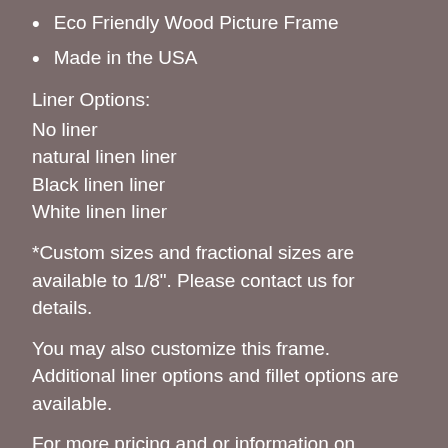Eco Friendly Wood Picture Frame
Made in the USA
Liner Options:
No liner
natural linen liner
Black linen liner
White linen liner
*Custom sizes and fractional sizes are available to 1/8". Please contact us for details.
You may also customize this frame.  Additional liner options and fillet options are available.
For more pricing and or information on customizing this frame please call us at (800) 322-1870 or press the contact us button and send us message.